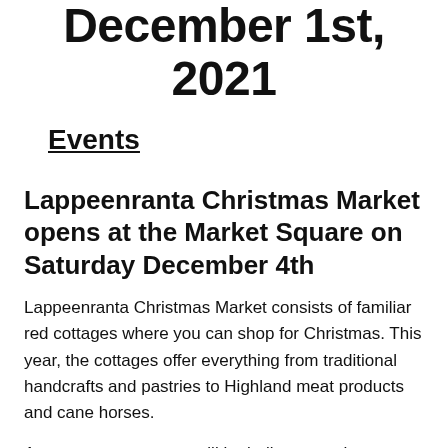December 1st, 2021
Events
Lappeenranta Christmas Market opens at the Market Square on Saturday December 4th
Lappeenranta Christmas Market consists of familiar red cottages where you can shop for Christmas. This year, the cottages offer everything from traditional handcrafts and pastries to Highland meat products and cane horses.
A separate event area will be built next to the Christmas Market, which will include a performance of the Kimpinen School's music class choir on